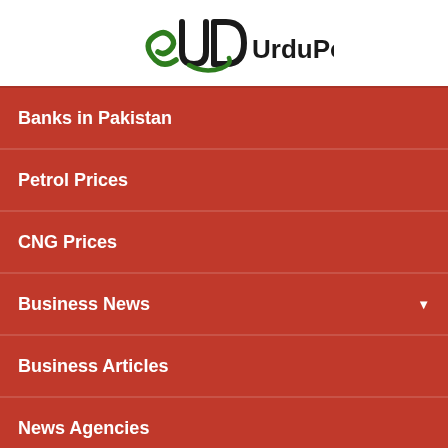[Figure (logo): UrduPoint logo with green and dark graphic mark and black text 'UrduPoint']
Banks in Pakistan
Petrol Prices
CNG Prices
Business News
Business Articles
News Agencies
PSX
Updated: 02:14:05pm | 06-09-2022
Status: Open   Volume: 133,592,766